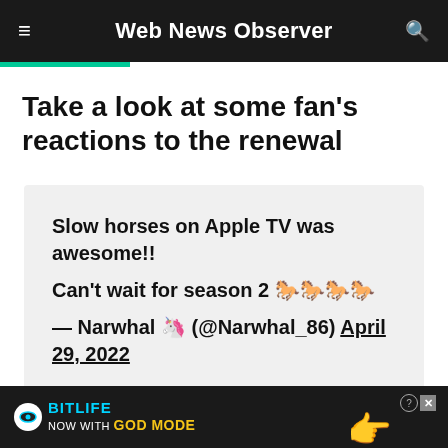Web News Observer
Take a look at some fan’s reactions to the renewal
Slow horses on Apple TV was awesome!!

Can’t wait for season 2 🐎🐎🐎🐎

— Narwhal 🦄🦄 (@Narwhal_86) April 29, 2022
[Figure (screenshot): BitLife advertisement banner: NOW WITH GOD MODE, with an animated hand pointing]